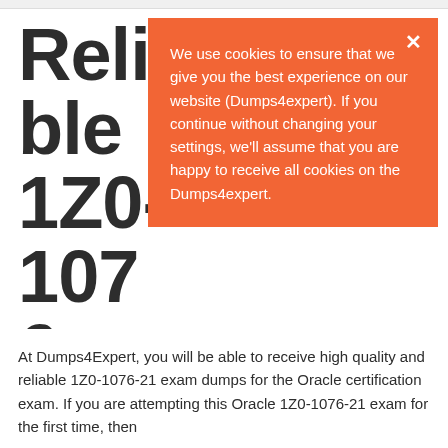Reliable 1Z0-1076-21 Exam Dumps Oracle Certification Exam.
We use cookies to ensure that we give you the best experience on our website (Dumps4expert). If you continue without changing your settings, we'll assume that you are happy to receive all cookies on the Dumps4expert.
At Dumps4Expert, you will be able to receive high quality and reliable 1Z0-1076-21 exam dumps for the Oracle certification exam. If you are attempting this Oracle 1Z0-1076-21 exam for the first time, then